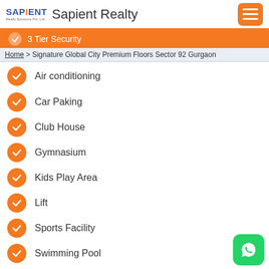Sapient Realty
3 Tier Security
Home > Signature Global City Premium Floors Sector 92 Gurgaon
Air conditioning
Car Paking
Club House
Gymnasium
Kids Play Area
Lift
Sports Facility
Swimming Pool
Wi-Fi